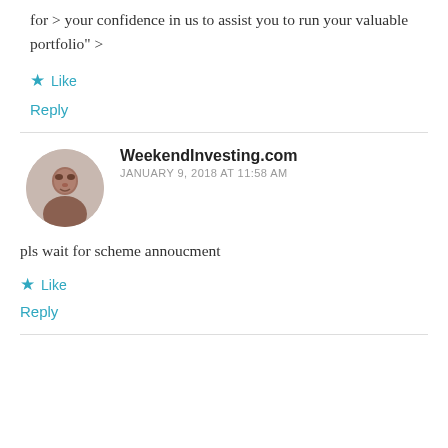for > your confidence in us to assist you to run your valuable portfolio" >
Like
Reply
WeekendInvesting.com
JANUARY 9, 2018 AT 11:58 AM
pls wait for scheme annoucment
Like
Reply